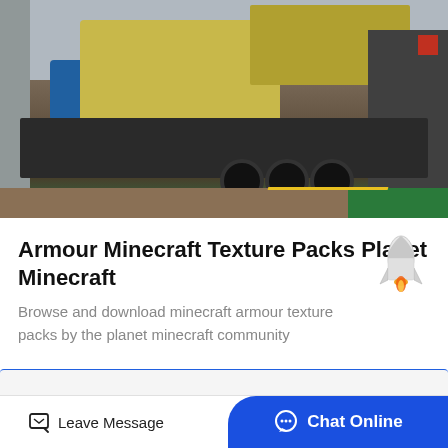[Figure (photo): Industrial factory scene showing a large yellow mobile crusher/screening machine mounted on a truck trailer with multiple wheels, inside a large manufacturing warehouse with metal structure, steel floor, green area and yellow line markings visible.]
Armour Minecraft Texture Packs Planet Minecraft
Browse and download minecraft armour texture packs by the planet minecraft community
[Figure (illustration): Small rocket emoji/illustration]
Leave Message  Chat Online